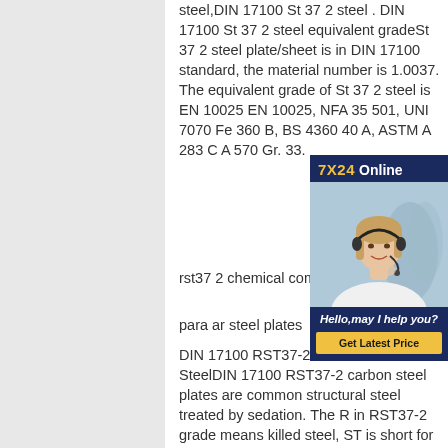steel,DIN 17100 St 37 2 steel . DIN 17100 St 37 2 steel equivalent gradeSt 37 2 steel plate/sheet is in DIN 17100 standard, the material number is 1.0037. The equivalent grade of St 37 2 steel is EN 10025 EN 10025, NFA 35 501, UNI 7070 Fe 360 B, BS 4360 40 A, ASTM A 283 C A 570 Gr. 33.
rst37 2 chemical composition - C...
para ar steel plates
DIN 17100 RST37-2 carbon steel... BBN SteelDIN 17100 RST37-2 carbon steel plates are common structural steel treated by sedation. The R in RST37-2 grade means killed steel, ST is short for Stahl, which means common structural steel. The average tensile strength of DIN
[Figure (other): Customer service chat widget showing '7X24 Online' header, a photo of a woman wearing a headset smiling, with text 'Hello,may I help you?' and a yellow 'Get Latest Price' button, on a dark navy blue background.]